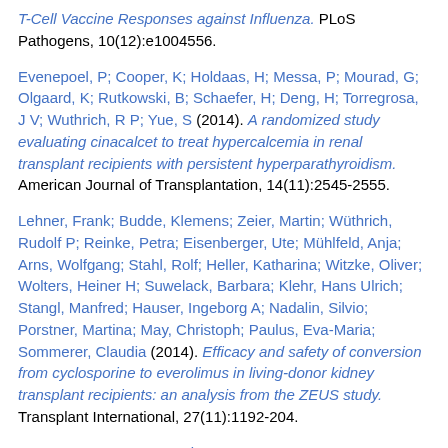T-Cell Vaccine Responses against Influenza. PLoS Pathogens, 10(12):e1004556.
Evenepoel, P; Cooper, K; Holdaas, H; Messa, P; Mourad, G; Olgaard, K; Rutkowski, B; Schaefer, H; Deng, H; Torregrosa, J V; Wuthrich, R P; Yue, S (2014). A randomized study evaluating cinacalcet to treat hypercalcemia in renal transplant recipients with persistent hyperparathyroidism. American Journal of Transplantation, 14(11):2545-2555.
Lehner, Frank; Budde, Klemens; Zeier, Martin; Wüthrich, Rudolf P; Reinke, Petra; Eisenberger, Ute; Mühlfeld, Anja; Arns, Wolfgang; Stahl, Rolf; Heller, Katharina; Witzke, Oliver; Wolters, Heiner H; Suwelack, Barbara; Klehr, Hans Ulrich; Stangl, Manfred; Hauser, Ingeborg A; Nadalin, Silvio; Porstner, Martina; May, Christoph; Paulus, Eva-Maria; Sommerer, Claudia (2014). Efficacy and safety of conversion from cyclosporine to everolimus in living-donor kidney transplant recipients: an analysis from the ZEUS study. Transplant International, 27(11):1192-204.
Su, Z; Wang, X; Gao, X; Liu, Y; Pan, C; Hu, H; Beyer, R P; Shi, M; Zhou, J; Zhang, J; Serra, A L; Wüthrich, R P; Mei, C (2014). Excessive activation of the alternative complement pathway in autosomal dominant polycystic kidney disease. Journal of Internal